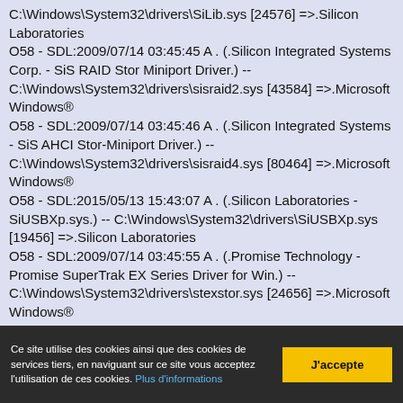C:\Windows\System32\drivers\SiLib.sys [24576] =>.Silicon Laboratories
O58 - SDL:2009/07/14 03:45:45 A . (.Silicon Integrated Systems Corp. - SiS RAID Stor Miniport Driver.) -- C:\Windows\System32\drivers\sisraid2.sys [43584] =>.Microsoft Windows®
O58 - SDL:2009/07/14 03:45:46 A . (.Silicon Integrated Systems - SiS AHCI Stor-Miniport Driver.) -- C:\Windows\System32\drivers\sisraid4.sys [80464] =>.Microsoft Windows®
O58 - SDL:2015/05/13 15:43:07 A . (.Silicon Laboratories - SiUSBXp.sys.) -- C:\Windows\System32\drivers\SiUSBXp.sys [19456] =>.Silicon Laboratories
O58 - SDL:2009/07/14 03:45:55 A . (.Promise Technology - Promise SuperTrak EX Series Driver for Win.) -- C:\Windows\System32\drivers\stexstor.sys [24656] =>.Microsoft Windows®
O58 - SDL:2014/11/10 12:12:42 A . (.Intel Corporation - Intel(R) Management Engine Interface.) -- C:\Windows\System32\drivers\...
Ce site utilise des cookies ainsi que des cookies de services tiers, en naviguant sur ce site vous acceptez l'utilisation de ces cookies. Plus d'informations